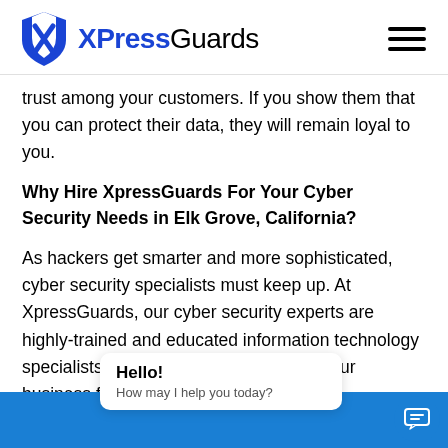XPressGuards
trust among your customers. If you show them that you can protect their data, they will remain loyal to you.
Why Hire XpressGuards For Your Cyber Security Needs in Elk Grove, California?
As hackers get smarter and more sophisticated, cyber security specialists must keep up. At XpressGuards, our cyber security experts are highly-trained and educated information technology specialists whose mission is to secure your business from all forms of cyber threats.